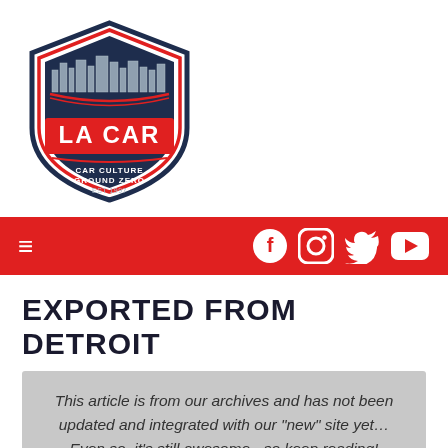[Figure (logo): LA CAR shield logo with city skyline, red and navy blue colors, text: LA CAR, CAR CULTURE GROUND ZERO, EST 1997]
[Figure (infographic): Red navigation bar with hamburger menu icon on left and social media icons (Facebook, Instagram, Twitter, YouTube) on right]
EXPORTED FROM DETROIT
This article is from our archives and has not been updated and integrated with our "new" site yet... Even so, it's still awesome - so keep reading!
Published on Sat, Apr 16, 2011